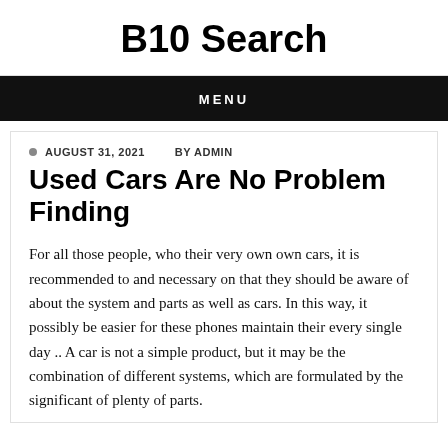B10 Search
MENU
AUGUST 31, 2021    BY ADMIN
Used Cars Are No Problem Finding
For all those people, who their very own own cars, it is recommended to and necessary on that they should be aware of about the system and parts as well as cars. In this way, it possibly be easier for these phones maintain their every single day .. A car is not a simple product, but it may be the combination of different systems, which are formulated by the significant of plenty of parts.